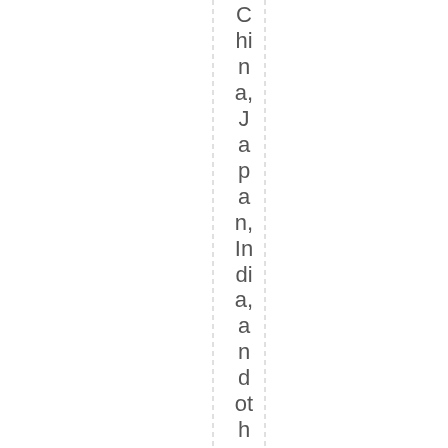China, Japan, India, and other countries